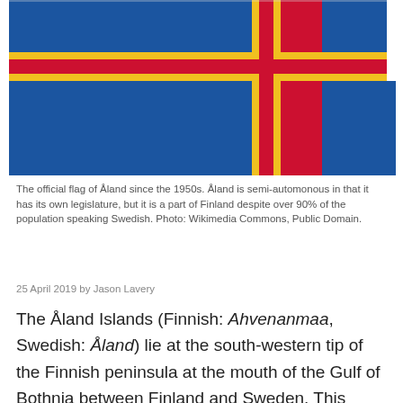[Figure (illustration): The official flag of Åland — a Nordic cross design with a red cross outlined in yellow on a blue background with yellow horizontal band.]
The official flag of Åland since the 1950s. Åland is semi-automonous in that it has its own legislature, but it is a part of Finland despite over 90% of the population speaking Swedish. Photo: Wikimedia Commons, Public Domain.
25 April 2019 by Jason Lavery
The Åland Islands (Finnish: Ahvenanmaa, Swedish: Åland) lie at the south-western tip of the Finnish peninsula at the mouth of the Gulf of Bothnia between Finland and Sweden. This archipelago consists of 6,500 islands and skerries. As of 2019, the population